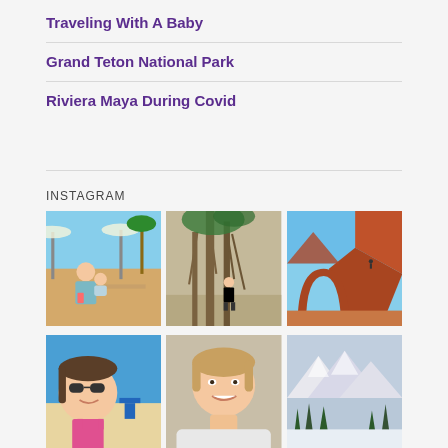Traveling With A Baby
Grand Teton National Park
Riviera Maya During Covid
INSTAGRAM
[Figure (photo): Woman holding a baby at an outdoor beach restaurant, holding a colorful drink]
[Figure (photo): Woman standing near large banyan tree roots in a natural outdoor setting]
[Figure (photo): Red rock canyon landscape with a natural arch, desert scenery]
[Figure (photo): Woman with sunglasses at the beach with blue water and chairs in background]
[Figure (photo): Woman smiling, close-up selfie or portrait photo]
[Figure (photo): Snowy mountain landscape with trees, winter scene]